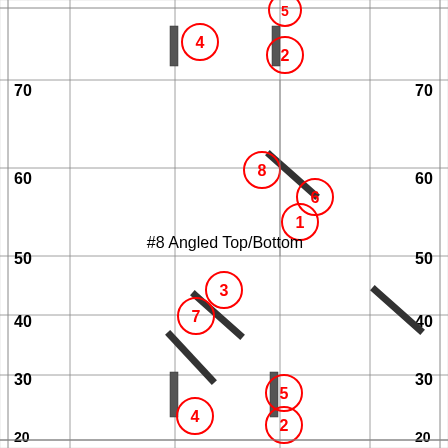[Figure (engineering-diagram): Engineering diagram showing a grid with numbered positions (1-8 in red circles) and angled bar/rod elements labeled '#8 Angled Top/Bottom'. Y-axis markings at 30, 40, 50, 60, 70. Multiple vertical and angled steel bars are shown at various grid positions.]